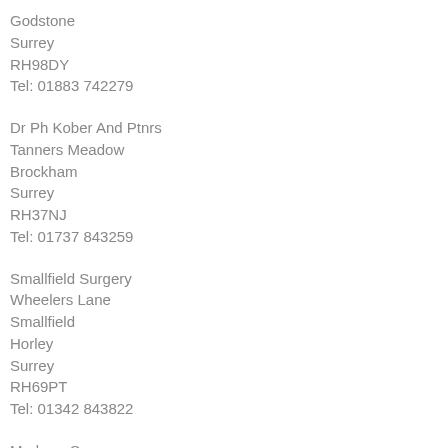Godstone
Surrey
RH98DY
Tel: 01883 742279
Dr Ph Kober And Ptnrs
Tanners Meadow
Brockham
Surrey
RH37NJ
Tel: 01737 843259
Smallfield Surgery
Wheelers Lane
Smallfield
Horley
Surrey
RH69PT
Tel: 01342 843822
Medwyn Surgery